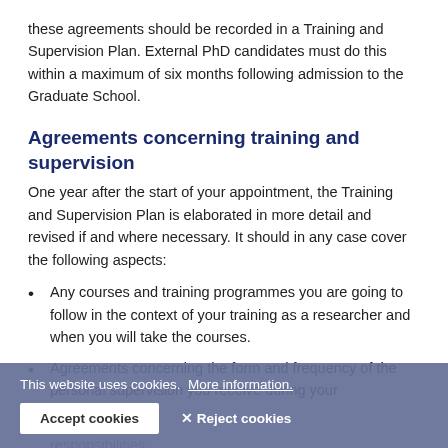these agreements should be recorded in a Training and Supervision Plan. External PhD candidates must do this within a maximum of six months following admission to the Graduate School.
Agreements concerning training and supervision
One year after the start of your appointment, the Training and Supervision Plan is elaborated in more detail and revised if and where necessary. It should in any case cover the following aspects:
Any courses and training programmes you are going to follow in the context of your training as a researcher and when you will take the courses.
Agreements concerning the form and frequency of the personal supervision you receive during your appointment
responsibilities
This website uses cookies.  More information.
Accept cookies   ✕ Reject cookies